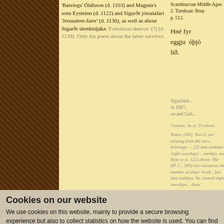'Barelegs' Óláfsson (d. 1103) and Magnús's sons Eysteinn (d. 1122) and Sigurðr jórsalafari 'Jerusalem-farer' (d. 1130), as well as about Sigurðr slembidjákn 'Fortuitous-deacon' (?) (d. 1139). Only his poem about the latter survives.
Hrauð ungr konungr átta snekkjur
Hné fyr eggju óþjóðar lið.
— vargr gein of val — Vinða ferðar.
Ungr konungr hrauð átta snekkjur ferðar Vinð... vargr gein of val. Lið óþjóðar hné fyr eggju.
The young king cleared eight warships of the force of the Wends; the wolf gaped over carn... The host of evildoers fell before the sword-ed...
Mork(33v) (Mork)
1848-87. III. 619-
Sigurðarb... rk 1867, on and Gad...
Context: As st. 19 above.
Notes: [All]: Two ll. are missing from the seco... helmingr. — [2] átta snekkjur 'eight warships'... snekkja, see Note to st. 12/2 above. Hkr (IF 2... 309) also mentions the number of ships: hrað... þar átta snekkjur 'he cleared eight warships... there'.
Cookies on our website
We use cookies on this website, mainly to provide a secure browsing experience but also to collect statistics on how the website is used. You can find out more about the cookies we set, the information we store and how we use it on the cookies page.
Continue